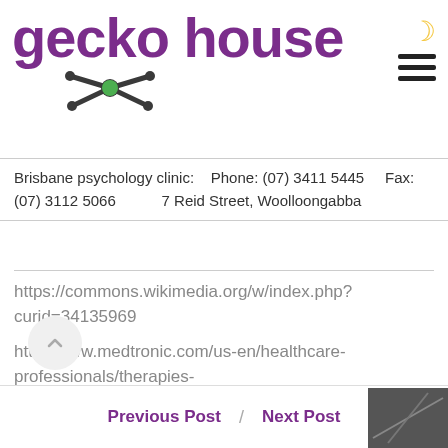[Figure (logo): Gecko House logo with purple text and green gecko icon]
Brisbane psychology clinic:    Phone: (07) 3411 5445    Fax: (07) 3112 5066    7 Reid Street, Woolloongabba
https://commons.wikimedia.org/w/index.php?curid=34135969
http://www.medtronic.com/us-en/healthcare-professionals/therapies-procedures/neurological/shunting-hydrocephalus.html
Previous Post / Next Post